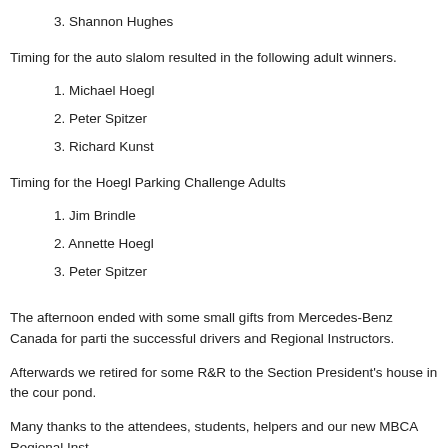3. Shannon Hughes
Timing for the auto slalom resulted in the following adult winners.
1. Michael Hoegl
2. Peter Spitzer
3. Richard Kunst
Timing for the Hoegl Parking Challenge Adults
1. Jim Brindle
2. Annette Hoegl
3. Peter Spitzer
The afternoon ended with some small gifts from Mercedes-Benz Canada for parti the successful drivers and Regional Instructors.
Afterwards we retired for some R&R to the Section President's house in the cour pond.
Many thanks to the attendees, students, helpers and our new MBCA Regional Inst
Doug Dees